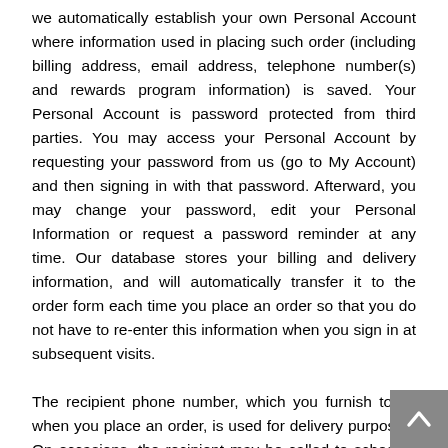we automatically establish your own Personal Account where information used in placing such order (including billing address, email address, telephone number(s) and rewards program information) is saved. Your Personal Account is password protected from third parties. You may access your Personal Account by requesting your password from us (go to My Account) and then signing in with that password. Afterward, you may change your password, edit your Personal Information or request a password reminder at any time. Our database stores your billing and delivery information, and will automatically transfer it to the order form each time you place an order so that you do not have to re-enter this information when you sign in at subsequent visits.
The recipient phone number, which you furnish to us when you place an order, is used for delivery purposes. On occasions, the recipient may be called to schedule del